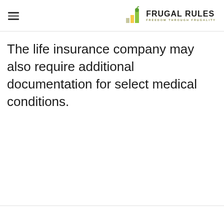FRUGAL RULES — FREEDOM THROUGH FRUGALITY
The life insurance company may also require additional documentation for select medical conditions.